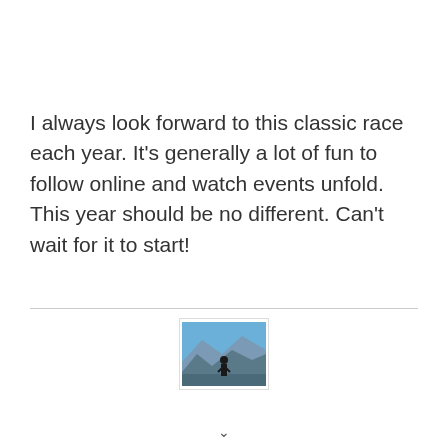I always look forward to this classic race each year. It's generally a lot of fun to follow online and watch events unfold. This year should be no different. Can't wait for it to start!
[Figure (photo): A small thumbnail photo showing a person standing outdoors with mountains and blue sky in the background.]